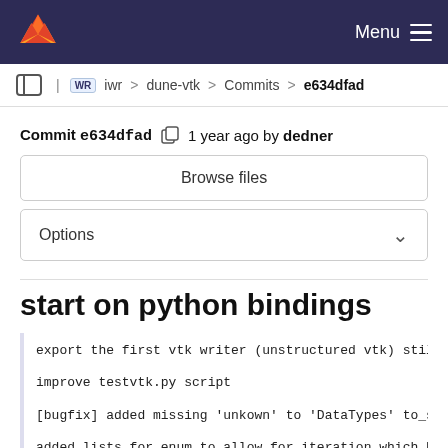Menu
iwr > dune-vtk > Commits > e634dfad
Commit e634dfad  1 year ago by dedner
Browse files
Options
start on python bindings
export the first vtk writer (unstructured vtk) still
improve testvtk.py script
[bugfix] added missing 'unkown' to 'DataTypes' to_st
added lists for enum to allow for iteration which he